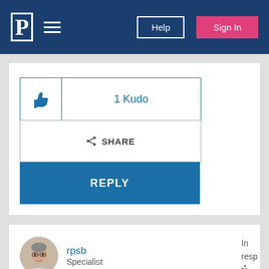P | ≡ | Help | Sign In
[Figure (other): Thumbs up icon for kudo button]
1 Kudo
SHARE
REPLY
[Figure (photo): User avatar of rpsb, a specialist with glasses]
rpsb
Specialist
In resp to Dan